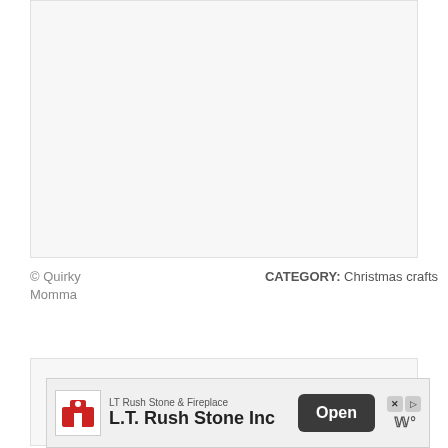[Figure (photo): Large image placeholder box with light gray background]
© Quirky Momma
CATEGORY: Christmas crafts
[Figure (photo): Second image placeholder box with light gray background]
LT Rush Stone & Fireplace
L.T. Rush Stone Inc
Open